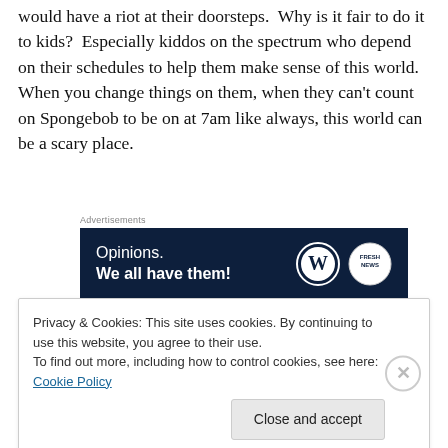would have a riot at their doorsteps. Why is it fair to do it to kids? Especially kiddos on the spectrum who depend on their schedules to help them make sense of this world. When you change things on them, when they can't count on Spongebob to be on at 7am like always, this world can be a scary place.
[Figure (other): Advertisement banner with dark navy background. Text reads 'Opinions. We all have them!' with WordPress and Fresh News logos on the right.]
All those child psychologists on your payroll, and not a
Privacy & Cookies: This site uses cookies. By continuing to use this website, you agree to their use. To find out more, including how to control cookies, see here: Cookie Policy
Close and accept